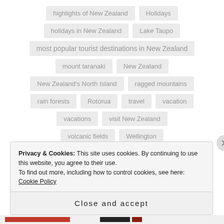highlights of New Zealand
Holidays
holidays in New Zealand
Lake Taupo
most popular tourist destinations in New Zealand
mount taranaki
New Zealand
New Zealand's North Island
ragged mountains
rain forests
Rotorua
travel
vacation
vacations
visit New Zealand
volcanic fields
Wellington
Privacy & Cookies: This site uses cookies. By continuing to use this website, you agree to their use.
To find out more, including how to control cookies, see here: Cookie Policy
Close and accept